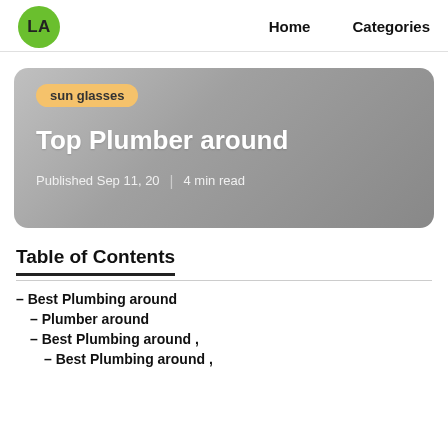LA  Home  Categories
[Figure (other): Hero card with gradient gray background, orange 'sun glasses' tag badge, title 'Top Plumber around', and meta 'Published Sep 11, 20 | 4 min read']
Table of Contents
– Best Plumbing around
– Plumber around
– Best Plumbing around ,
– Best Plumbing around ,